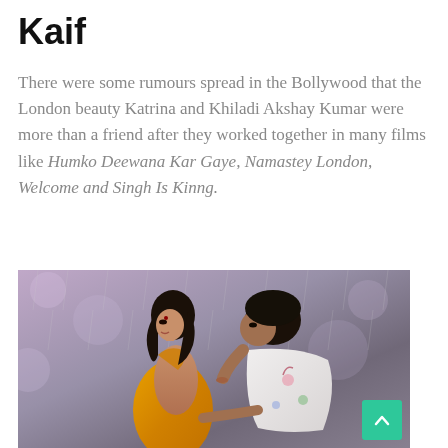Kaif
There were some rumours spread in the Bollywood that the London beauty Katrina and Khiladi Akshay Kumar were more than a friend after they worked together in many films like Humko Deewana Kar Gaye, Namastey London, Welcome and Singh Is Kinng.
[Figure (photo): A Bollywood film scene showing a woman in a yellow saree and a man in a white shirt in the rain, in a romantic pose.]